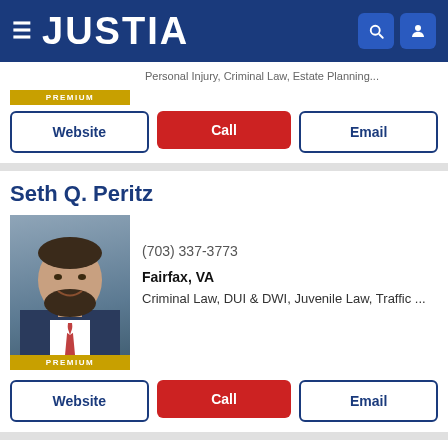JUSTIA
Personal Injury, Criminal Law, Estate Planning
PREMIUM
Website | Call | Email
Seth Q. Peritz
(703) 337-3773
Fairfax, VA
Criminal Law, DUI & DWI, Juvenile Law, Traffic ...
PREMIUM
Website | Call | Email
Benjamin C. Charlton
(703) 925-0500
Fairfax, VA